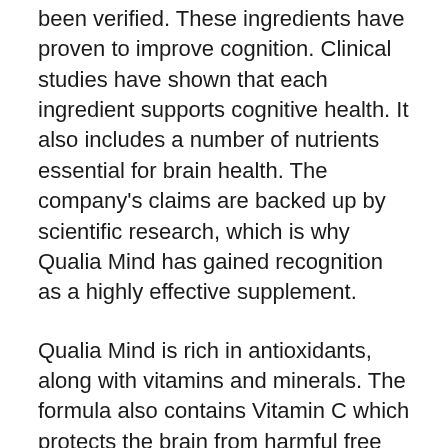been verified. These ingredients have proven to improve cognition. Clinical studies have shown that each ingredient supports cognitive health. It also includes a number of nutrients essential for brain health. The company's claims are backed up by scientific research, which is why Qualia Mind has gained recognition as a highly effective supplement.
Qualia Mind is rich in antioxidants, along with vitamins and minerals. The formula also contains Vitamin C which protects the brain from harmful free radicals. Qualia Mind also contains Theobromine and Coleus forskohlii as well as N-Acetyl L-Tyrosine and Pterostilbene bound with Caffeine. It also contains organic rice concentrate, silicon dioxide, and vegetable cellulose.